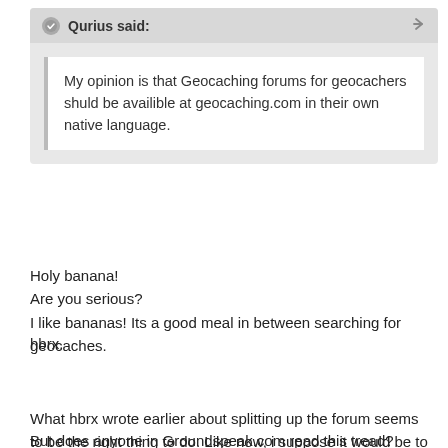Qurius said:
My opinion is that Geocaching forums for geocachers shuld be availible at geocaching.com in their own native language.
Holy banana!
Are you serious?

hbrx.
I like bananas! Its a good meal in between searching for geocaches.
What hbrx wrote earlier about splitting up the forum seems to be the right thing to do. Like now, i suppose it would be to the benefit for the Finns and the others to make a separate space for them.
But does anyone in Groundspeak.com read this tread?